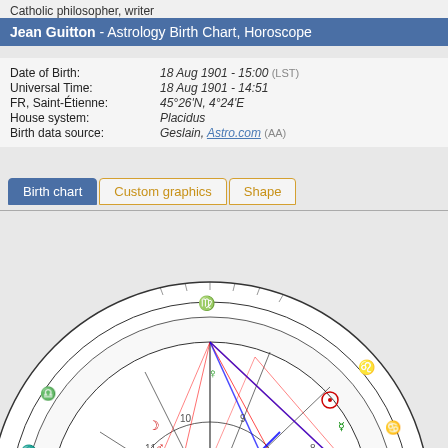Catholic philosopher, writer
Jean Guitton - Astrology Birth Chart, Horoscope
| Date of Birth: | 18 Aug 1901 - 15:00 (LST) |
| Universal Time: | 18 Aug 1901 - 14:51 |
| FR, Saint-Étienne: | 45°26'N, 4°24'E |
| House system: | Placidus |
| Birth data source: | Geslain, Astro.com (AA) |
Birth chart | Custom graphics | Shape
[Figure (other): Astrological birth chart wheel for Jean Guitton showing zodiac signs, planetary positions, house cusps, and aspect lines in red and blue]